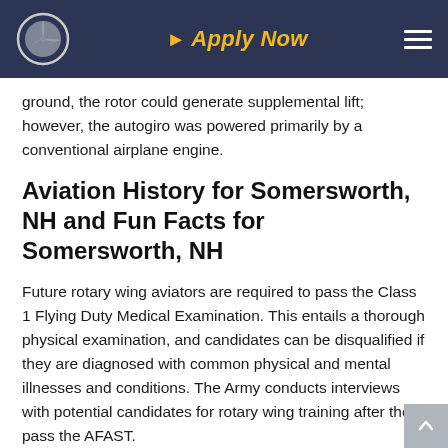Apply Now
ground, the rotor could generate supplemental lift; however, the autogiro was powered primarily by a conventional airplane engine.
Aviation History for Somersworth, NH and Fun Facts for Somersworth, NH
Future rotary wing aviators are required to pass the Class 1 Flying Duty Medical Examination. This entails a thorough physical examination, and candidates can be disqualified if they are diagnosed with common physical and mental illnesses and conditions. The Army conducts interviews with potential candidates for rotary wing training after they pass the AFAST.